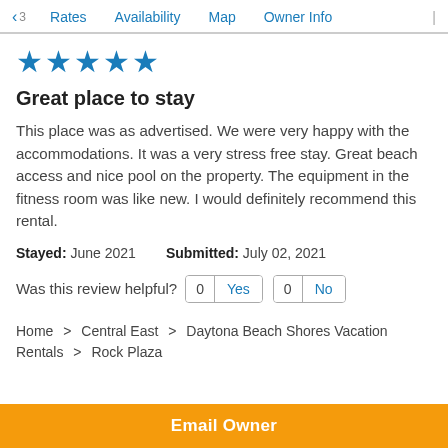< 3  Rates  Availability  Map  Owner Info  |
[Figure (other): 5 blue star rating icons]
Great place to stay
This place was as advertised. We were very happy with the accommodations. It was a very stress free stay. Great beach access and nice pool on the property. The equipment in the fitness room was like new. I would definitely recommend this rental.
Stayed: June 2021    Submitted: July 02, 2021
Was this review helpful? 0 Yes  0 No
Home > Central East > Daytona Beach Shores Vacation Rentals > Rock Plaza
Email Owner